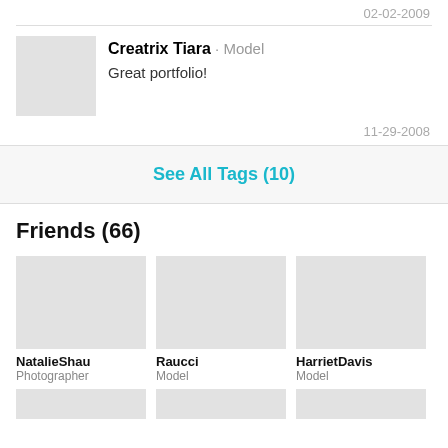02-02-2009
Creatrix Tiara · Model
Great portfolio!
11-29-2008
See All Tags (10)
Friends (66)
[Figure (photo): NatalieShau profile photo placeholder]
NatalieShau
Photographer
[Figure (photo): Raucci profile photo placeholder]
Raucci
Model
[Figure (photo): HarrietDavis profile photo placeholder]
HarrietDavis
Model